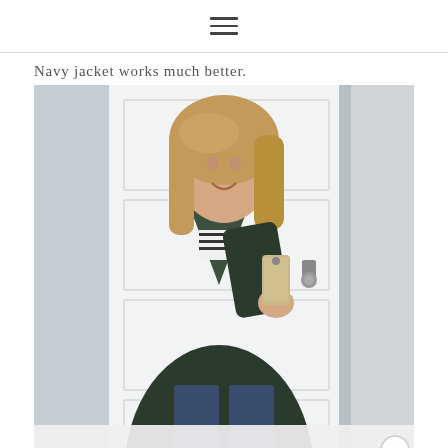≡
Navy jacket works much better.
[Figure (photo): A woman taking a mirror selfie wearing a dark olive/navy utility jacket over a striped shirt and jeans, holding an iPhone, standing in front of a white paneled door. The lower part of the image shows the continuation of the photo with a bottom advertisement overlay and a close (X) button.]